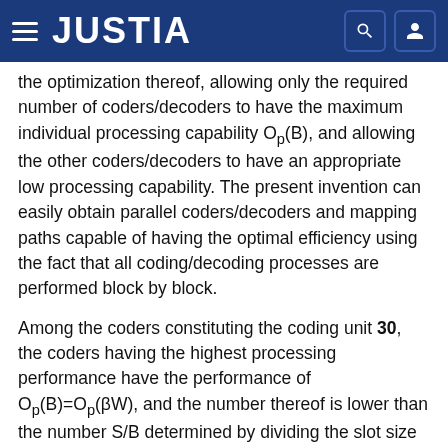JUSTIA
the optimization thereof, allowing only the required number of coders/decoders to have the maximum individual processing capability Op(B), and allowing the other coders/decoders to have an appropriate low processing capability. The present invention can easily obtain parallel coders/decoders and mapping paths capable of having the optimal efficiency using the fact that all coding/decoding processes are performed block by block.
Among the coders constituting the coding unit 30, the coders having the highest processing performance have the performance of Op(B)=Op(βW), and the number thereof is lower than the number S/B determined by dividing the slot size by the block size. Among the other low-performance coders, a required number of the low-performance coders make a particular permutation